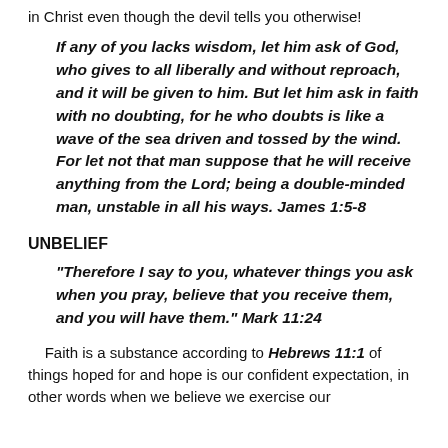in Christ even though the devil tells you otherwise!
If any of you lacks wisdom, let him ask of God, who gives to all liberally and without reproach, and it will be given to him. But let him ask in faith with no doubting, for he who doubts is like a wave of the sea driven and tossed by the wind. For let not that man suppose that he will receive anything from the Lord; being a double-minded man, unstable in all his ways. James 1:5-8
UNBELIEF
"Therefore I say to you, whatever things you ask when you pray, believe that you receive them, and you will have them." Mark 11:24
Faith is a substance according to Hebrews 11:1 of things hoped for and hope is our confident expectation, in other words when we believe we exercise our